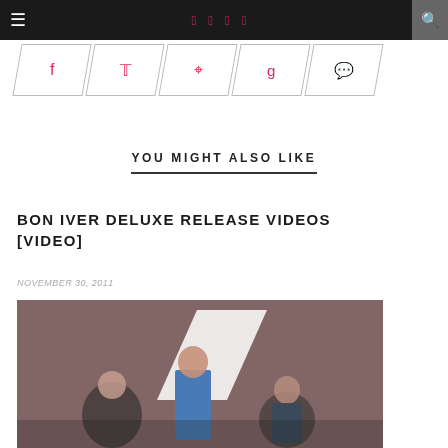Navigation bar with hamburger menu, social icons (Facebook, Twitter, Instagram, Pinterest), and search button
[Figure (other): Social share buttons row with skewed parallelogram shapes containing icons: Facebook, Twitter, Pinterest, Google+, Comment]
YOU MIGHT ALSO LIKE
BON IVER DELUXE RELEASE VIDEOS [VIDEO]
NOVEMBER 30, 2011
[Figure (photo): Photo of three young people standing in front of a brick wall with a large geometric white shape. A woman in blue denim stands in the center, flanked by two men.]